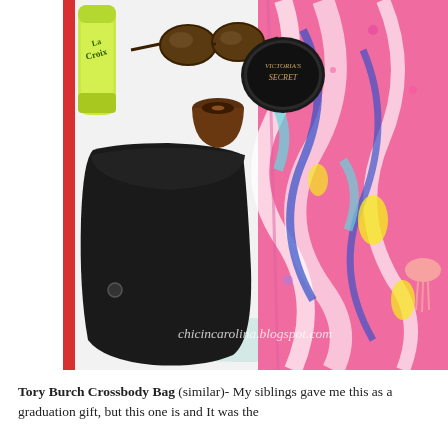[Figure (photo): Flat lay photo showing black shorts (Lululemon), a colorful pink floral Lilly Pulitzer dress, La Croix sparkling water can, sunglasses, K-Cup coffee pod, and a Victoria's Secret powder compact, all arranged on a white surface. Watermark reads 'chicincarolina.blogspot.com'.]
Tory Burch Crossbody Bag (similar)- My siblings gave me this as a graduation gift, but this one is and It was the...